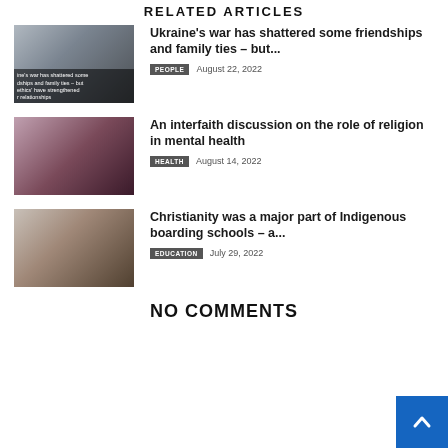RELATED ARTICLES
[Figure (photo): Two people holding a cat, with overlay text about Ukraine's war and friendships]
Ukraine’s war has shattered some friendships and family ties – but...
PEOPLE   August 22, 2022
[Figure (photo): Hands reaching toward each other, interfaith/health theme]
An interfaith discussion on the role of religion in mental health
HEALTH   August 14, 2022
[Figure (photo): Interior room with religious imagery and a person standing in a doorway]
Christianity was a major part of Indigenous boarding schools – a...
EDUCATION   July 29, 2022
NO COMMENTS